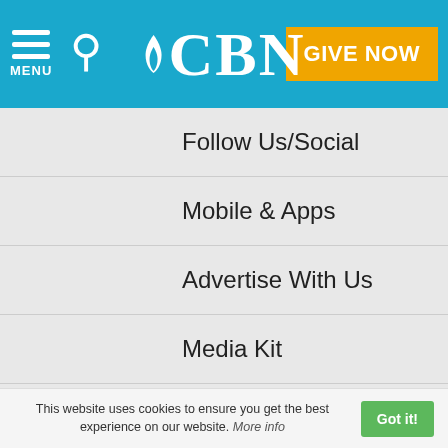CBN - MENU, Search, GIVE NOW
Follow Us/Social
Mobile & Apps
Advertise With Us
Media Kit
GET INVOLVED
Become a CBN Partner
Pledge Express
Planned Giving & Your Legacy
This website uses cookies to ensure you get the best experience on our website. More info  Got it!